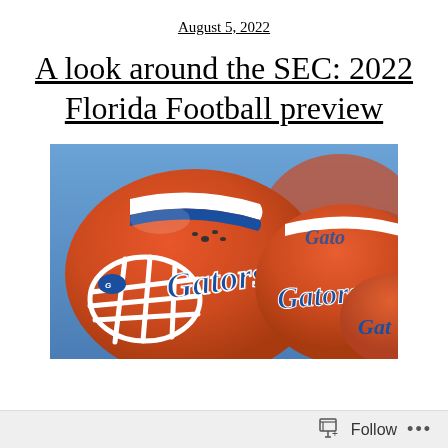August 5, 2022
A look around the SEC: 2022 Florida Football preview
[Figure (photo): Florida Gators orange football helmets with white face masks and blue 'Gators' script logo, multiple helmets stacked together with a blurred blue background]
Follow ...